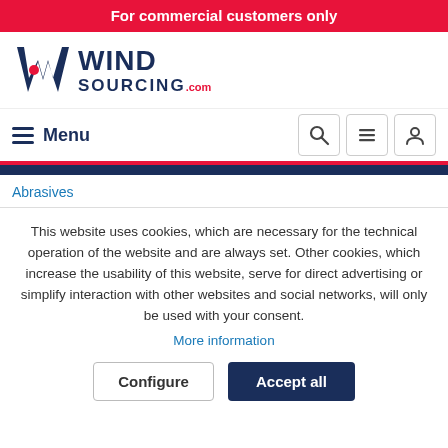For commercial customers only
[Figure (logo): WindSourcing.com logo with stylized W icon in navy blue and red dot]
Menu
Abrasives
This website uses cookies, which are necessary for the technical operation of the website and are always set. Other cookies, which increase the usability of this website, serve for direct advertising or simplify interaction with other websites and social networks, will only be used with your consent.
More information
Configure
Accept all